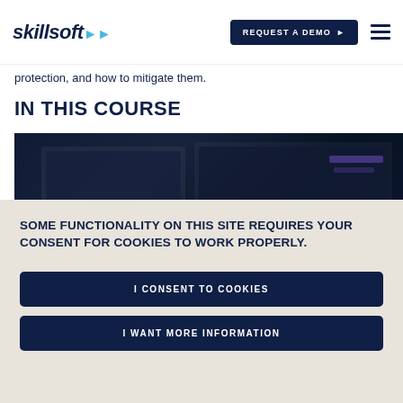skillsoft | REQUEST A DEMO
protection, and how to mitigate them.
IN THIS COURSE
[Figure (photo): Dark background image of a computer or server room environment]
SOME FUNCTIONALITY ON THIS SITE REQUIRES YOUR CONSENT FOR COOKIES TO WORK PROPERLY.
I CONSENT TO COOKIES
I WANT MORE INFORMATION